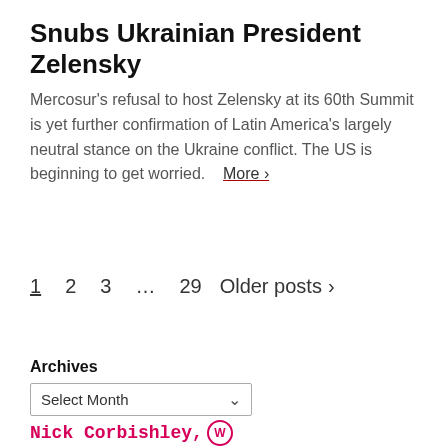Snubs Ukrainian President Zelensky
Mercosur's refusal to host Zelensky at its 60th Summit is yet further confirmation of Latin America's largely neutral stance on the Ukraine conflict. The US is beginning to get worried.  More ›
1  2  3  …  29  Older posts  >
Archives
Select Month
Nick Corbishley, ⓦ